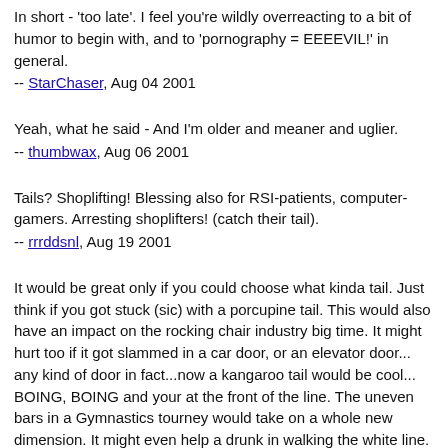In short - 'too late'. I feel you're wildly overreacting to a bit of humor to begin with, and to 'pornography = EEEEVIL!' in general.
-- StarChaser, Aug 04 2001
Yeah, what he said - And I'm older and meaner and uglier.
-- thumbwax, Aug 06 2001
Tails? Shoplifting! Blessing also for RSI-patients, computer-gamers. Arresting shoplifters! (catch their tail).
-- rrrddsnl, Aug 19 2001
It would be great only if you could choose what kinda tail. Just think if you got stuck (sic) with a porcupine tail. This would also have an impact on the rocking chair industry big time. It might hurt too if it got slammed in a car door, or an elevator door... any kind of door in fact...now a kangaroo tail would be cool... BOING, BOING and your at the front of the line. The uneven bars in a Gymnastics tourney would take on a whole new dimension. It might even help a drunk in walking the white line. Just think, your aunt could use a little spit on the end of her tail and wipe a bit of grime off your face. Polite people would still use a tissue after a juicy sneeze. There would be gangs of Striped tails. My cat would be jealous (he's a Manx!).